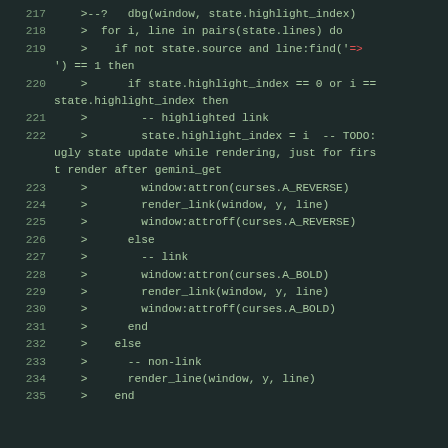[Figure (screenshot): Code editor screenshot showing Lua source code lines 217-235 with dark greenish background, green monospace text, and red highlighted arrow token on line 219.]